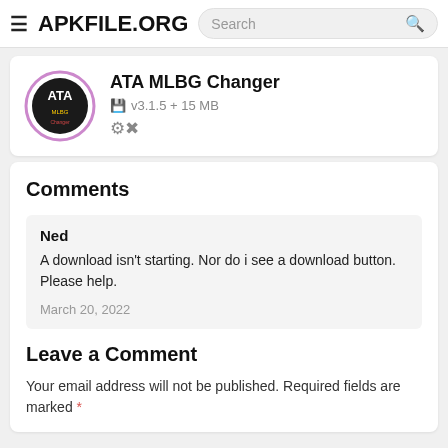≡ APKFILE.ORG  Search
[Figure (logo): ATA MLBG Changer app logo — circular icon with ATA text and purple border]
ATA MLBG Changer
v3.1.5 + 15 MB
Comments
Ned
A download isn't starting. Nor do i see a download button. Please help.
March 20, 2022
Leave a Comment
Your email address will not be published. Required fields are marked *